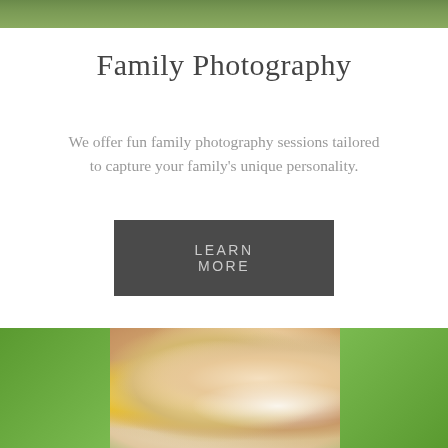[Figure (photo): Top portion of an outdoor photo with green foliage background, cropped at top of page]
Family Photography
We offer fun family photography sessions tailored to capture your family's unique personality.
LEARN MORE
[Figure (photo): Portrait photo of a smiling young woman with long blonde hair and a large yellow hibiscus flower in her hair, photographed outdoors with a blurred green background]